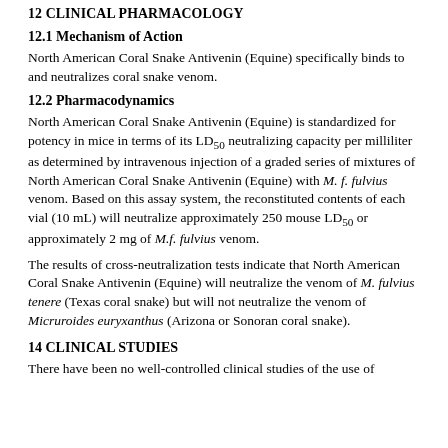12 CLINICAL PHARMACOLOGY
12.1 Mechanism of Action
North American Coral Snake Antivenin (Equine) specifically binds to and neutralizes coral snake venom.
12.2 Pharmacodynamics
North American Coral Snake Antivenin (Equine) is standardized for potency in mice in terms of its LD50 neutralizing capacity per milliliter as determined by intravenous injection of a graded series of mixtures of North American Coral Snake Antivenin (Equine) with M. f. fulvius venom. Based on this assay system, the reconstituted contents of each vial (10 mL) will neutralize approximately 250 mouse LD50 or approximately 2 mg of M.f. fulvius venom.
The results of cross-neutralization tests indicate that North American Coral Snake Antivenin (Equine) will neutralize the venom of M. fulvius tenere (Texas coral snake) but will not neutralize the venom of Micruroides euryxanthus (Arizona or Sonoran coral snake).
14 CLINICAL STUDIES
There have been no well-controlled clinical studies of the use of